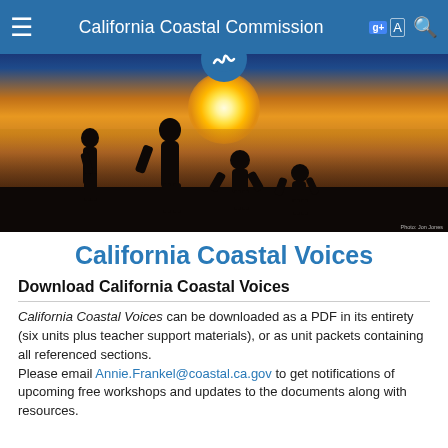California Coastal Commission
[Figure (photo): Silhouettes of people on a beach at sunset with golden/orange sky and water reflecting sunlight, California Coastal Commission logo circle at top]
California Coastal Voices
Download California Coastal Voices
California Coastal Voices can be downloaded as a PDF in its entirety (six units plus teacher support materials), or as unit packets containing all referenced sections.
Please email Annie.Frankel@coastal.ca.gov to get notifications of upcoming free workshops and updates to the documents along with resources.